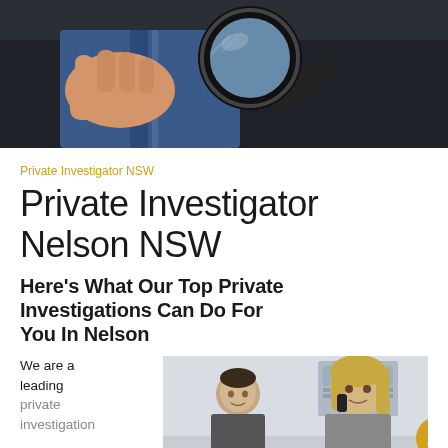[Figure (photo): Close-up of a hand in a suit holding a magnifying glass, symbolizing private investigation.]
Private Investigator NSW
Private Investigator Nelson NSW
Here's What Our Top Private Investigations Can Do For You In Nelson
We are a leading private investigation
[Figure (photo): A man and a woman in an interior setting; the woman is talking on a phone.]